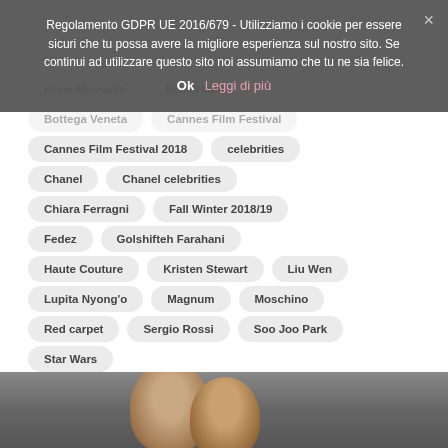Regolamento GDPR UE 2016/679 - Utilizziamo i cookie per essere sicuri che tu possa avere la migliore esperienza sul nostro sito. Se continui ad utilizzare questo sito noi assumiamo che tu ne sia felice.
Anna Mousalis  Bella Hadid
Bottega Veneta  Cannes Film Festival
Cannes Film Festival 2018  celebrities
Chanel  Chanel celebrities
Chiara Ferragni  Fall Winter 2018/19
Fedez  Golshifteh Farahani
Haute Couture  Kristen Stewart  Liu Wen
Lupita Nyong'o  Magnum  Moschino
Red carpet  Sergio Rossi  Soo Joo Park
Star Wars
[Figure (photo): Two people photographed from below eye level, dark background, fashion/celebrity context]